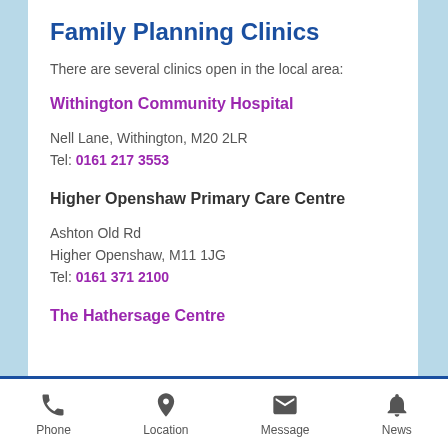Family Planning Clinics
There are several clinics open in the local area:
Withington Community Hospital
Nell Lane, Withington, M20 2LR
Tel: 0161 217 3553
Higher Openshaw Primary Care Centre
Ashton Old Rd
Higher Openshaw, M11 1JG
Tel: 0161 371 2100
The Hathersage Centre
Phone  Location  Message  News